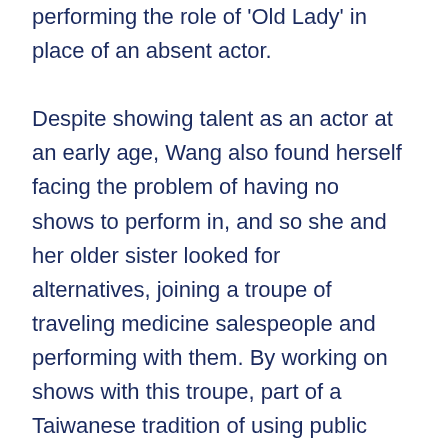performing the role of 'Old Lady' in place of an absent actor.

Despite showing talent as an actor at an early age, Wang also found herself facing the problem of having no shows to perform in, and so she and her older sister looked for alternatives, joining a troupe of traveling medicine salespeople and performing with them. By working on shows with this troupe, part of a Taiwanese tradition of using public performances to draw crowds and hawk medicines, Wang was able to hone her singing, enunciation, and ability to think on her feet while performing. After three years, Wang's singing skills had become much stronger, and then she joined Chiayi Public